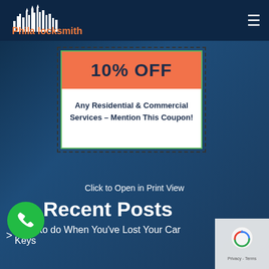[Figure (logo): Phila locksmith logo with white skyline illustration and orange text]
[Figure (infographic): 10% OFF coupon for Any Residential & Commercial Services - Mention This Coupon! with dashed border and green inner border, orange header]
Click to Open in Print View
Recent Posts
> What to do When You've Lost Your Car Keys